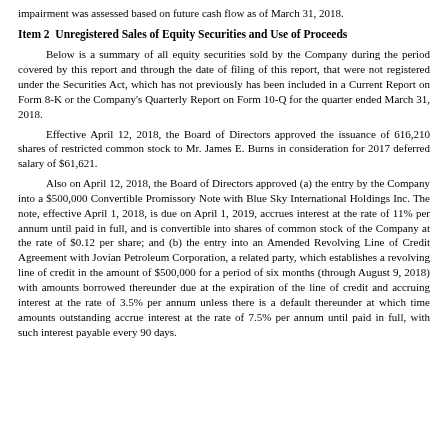impairment was assessed based on future cash flow as of March 31, 2018.
Item 2  Unregistered Sales of Equity Securities and Use of Proceeds
Below is a summary of all equity securities sold by the Company during the period covered by this report and through the date of filing of this report, that were not registered under the Securities Act, which has not previously has been included in a Current Report on Form 8-K or the Company's Quarterly Report on Form 10-Q for the quarter ended March 31, 2018.
Effective April 12, 2018, the Board of Directors approved the issuance of 616,210 shares of restricted common stock to Mr. James E. Burns in consideration for 2017 deferred salary of $61,621.
Also on April 12, 2018, the Board of Directors approved (a) the entry by the Company into a $500,000 Convertible Promissory Note with Blue Sky International Holdings Inc. The note, effective April 1, 2018, is due on April 1, 2019, accrues interest at the rate of 11% per annum until paid in full, and is convertible into shares of common stock of the Company at the rate of $0.12 per share; and (b) the entry into an Amended Revolving Line of Credit Agreement with Jovian Petroleum Corporation, a related party, which establishes a revolving line of credit in the amount of $500,000 for a period of six months (through August 9, 2018) with amounts borrowed thereunder due at the expiration of the line of credit and accruing interest at the rate of 3.5% per annum unless there is a default thereunder at which time amounts outstanding accrue interest at the rate of 7.5% per annum until paid in full, with such interest payable every 90 days.